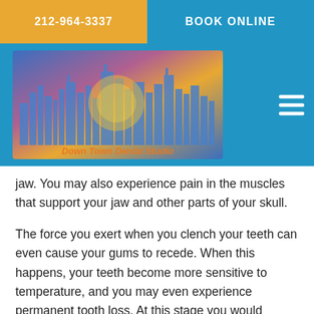212-964-3337   BOOK ONLINE
[Figure (logo): Down Town Dental Studio logo with city skyline silhouette against colorful gradient background]
jaw. You may also experience pain in the muscles that support your jaw and other parts of your skull.
The force you exert when you clench your teeth can even cause your gums to recede. When this happens, your teeth become more sensitive to temperature, and you may even experience permanent tooth loss. At this stage you would require surgery to repair your gums.
During athletic activity
Apart from protecting your teeth from the symptoms of a dental disorder, we often recommend night guards to